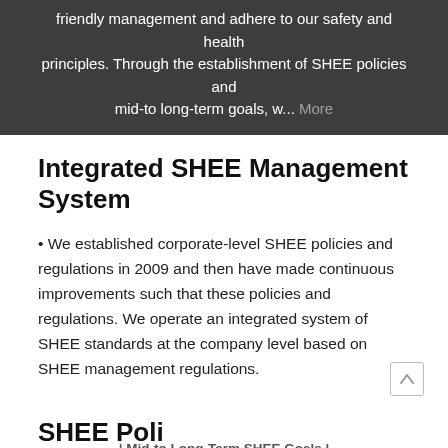friendly management and adhere to our safety and health principles. Through the establishment of SHEE policies and mid-to long-term goals, w... More
Integrated SHEE Management System
• We established corporate-level SHEE policies and regulations in 2009 and then have made continuous improvements such that these policies and regulations. We operate an integrated system of SHEE standards at the company level based on SHEE management regulations.
| Mid-to Long-Term SHEE Goals |
SHEE Poli...